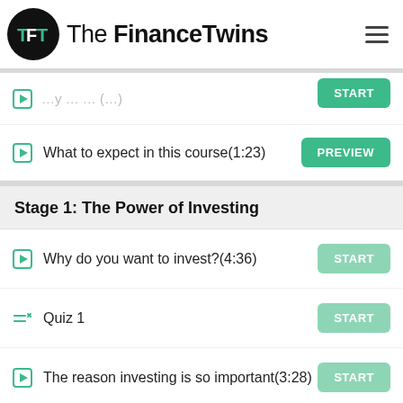The Finance Twins
What to expect in this course(1:23)
Stage 1: The Power of Investing
Why do you want to invest?(4:36)
Quiz 1
The reason investing is so important(3:28)
Before you start investing(4:52)
Quiz 2